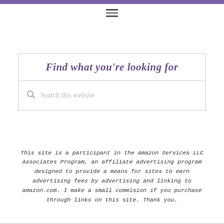☰
Find what you're looking for
Search this website
This site is a participant in the Amazon Services LLC Associates Program, an affiliate advertising program designed to provide a means for sites to earn advertising fees by advertising and linking to amazon.com. I make a small commision if you purchase through links on this site. Thank you.